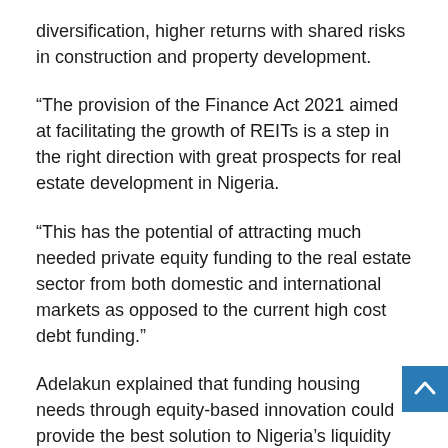diversification, higher returns with shared risks in construction and property development.
“The provision of the Finance Act 2021 aimed at facilitating the growth of REITs is a step in the right direction with great prospects for real estate development in Nigeria.
“This has the potential of attracting much needed private equity funding to the real estate sector from both domestic and international markets as opposed to the current high cost debt funding.”
Adelakun explained that funding housing needs through equity-based innovation could provide the best solution to Nigeria’s liquidity crisis in housing. For example, Public-Private Equity (PPE) offers the prospect of a more stable funding than debt based financing and has the capacity to deliver to scale in